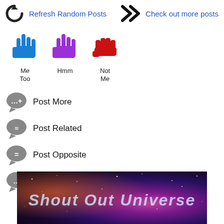[Figure (infographic): Refresh icon (circular arrows) with blue text 'Refresh Random Posts' and chevron arrows with blue text 'Check out more posts']
[Figure (infographic): Three hand reaction icons: blue hand ('Me Too'), purple hand ('Hmm'), red hand ('Not Me')]
[Figure (infographic): Four action buttons with speech bubble icons: 'Post More', 'Post Related', 'Post Opposite', 'Comment']
[Figure (illustration): Banner image with space/galaxy background and text 'Shout Out Universe']